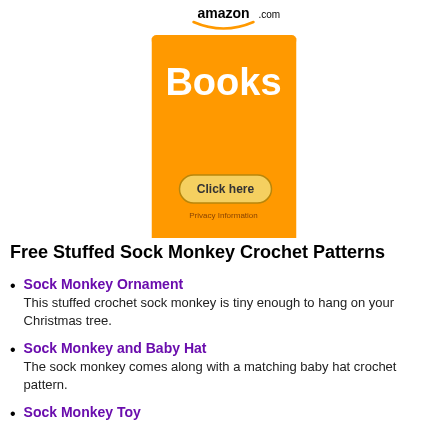[Figure (infographic): Amazon.com Books advertisement banner with orange background, 'Books' text in white, and a 'Click here' button with 'Privacy Information' text below it.]
Free Stuffed Sock Monkey Crochet Patterns
Sock Monkey Ornament
This stuffed crochet sock monkey is tiny enough to hang on your Christmas tree.
Sock Monkey and Baby Hat
The sock monkey comes along with a matching baby hat crochet pattern.
Sock Monkey Toy